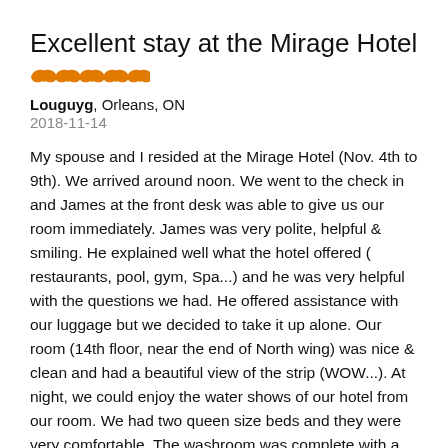Excellent stay at the Mirage Hotel
[Figure (other): 5 orange star/butterfly rating icons]
Louguyg, Orleans, ON
2018-11-14
My spouse and I resided at the Mirage Hotel (Nov. 4th to 9th). We arrived around noon. We went to the check in and James at the front desk was able to give us our room immediately. James was very polite, helpful & smiling. He explained well what the hotel offered ( restaurants, pool, gym, Spa...) and he was very helpful with the questions we had. He offered assistance with our luggage but we decided to take it up alone. Our room (14th floor, near the end of North wing) was nice & clean and had a beautiful view of the strip (WOW...). At night, we could enjoy the water shows of our hotel from our room. We had two queen size beds and they were very comfortable. The washroom was complete with a tub/shower sink, toilet, hair dryer, shelves and drawers. We always had hot water & good water pressure. My spouse found that the lighting